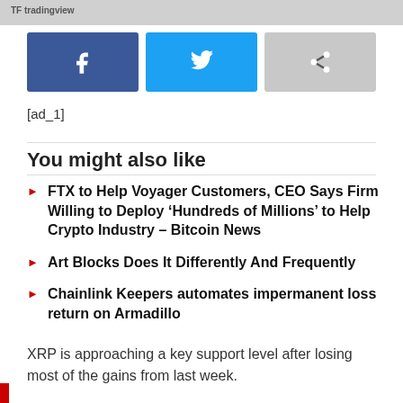TF tradingview
[Figure (other): Social share buttons: Facebook (blue), Twitter (light blue), Share (gray)]
[ad_1]
You might also like
FTX to Help Voyager Customers, CEO Says Firm Willing to Deploy ‘Hundreds of Millions’ to Help Crypto Industry – Bitcoin News
Art Blocks Does It Differently And Frequently
Chainlink Keepers automates impermanent loss return on Armadillo
XRP is approaching a key support level after losing most of the gains from last week.